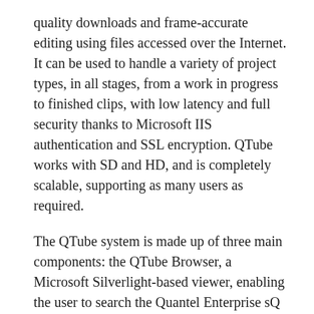quality downloads and frame-accurate editing using files accessed over the Internet. It can be used to handle a variety of project types, in all stages, from a work in progress to finished clips, with low latency and full security thanks to Microsoft IIS authentication and SSL encryption. QTube works with SD and HD, and is completely scalable, supporting as many users as required.
The QTube system is made up of three main components: the QTube Browser, a Microsoft Silverlight-based viewer, enabling the user to search the Quantel Enterprise sQ system and find, view and edit metadata on content remotely — ideal for producer/director review; QTube Edit software, which is an Internet-enabled version of the standard Enterprise sQ desktop editor; and QTube